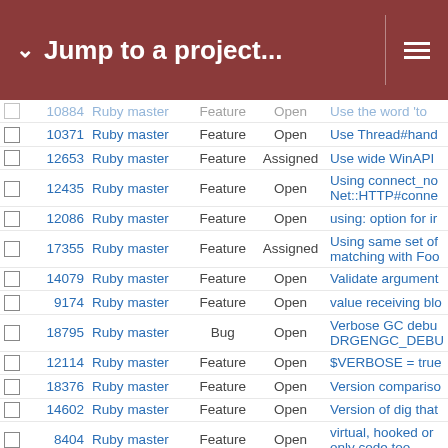Jump to a project...
|  | # | Project | Type | Status | Subject |
| --- | --- | --- | --- | --- | --- |
|  | 10884 | Ruby master | Feature | Open | Use the word 'to |
|  | 10371 | Ruby master | Feature | Open | Use Thread#hand |
|  | 12653 | Ruby master | Feature | Assigned | Use wide WinAPI |
|  | 12435 | Ruby master | Feature | Open | Using connect_no Net::HTTP#conne |
|  | 12086 | Ruby master | Feature | Open | using: option for ir |
|  | 17355 | Ruby master | Feature | Assigned | Using same set of matching with Foo |
|  | 14079 | Ruby master | Feature | Open | Validate argument |
|  | 9174 | Ruby master | Feature | Open | value receiving blo |
|  | 18795 | Ruby master | Bug | Open | Verbose GC debu DRGENGC_DEBU |
|  | 12114 | Ruby master | Feature | Open | $VERBOSE = true |
|  | 18376 | Ruby master | Feature | Open | Version compariso |
|  | 14602 | Ruby master | Feature | Open | Version of dig that |
|  | 8404 | Ruby master | Feature | Open | virtual, hooked or only code too |
|  | 12589 | Ruby master | Feature | Open | VM performance i |
|  | 16507 | Ruby master | Misc | Open | =~ vs include? or |
|  | 6612 | Ruby master | Feature | Assigned | VT_RECORD, IRu |